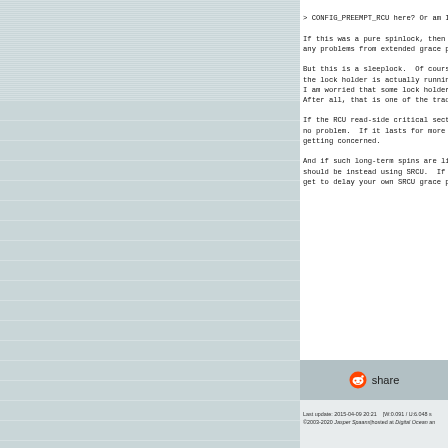> CONFIG_PREEMPT_RCU here? Or am I j

If this was a pure spinlock, then th
any problems from extended grace per

But this is a sleeplock.  Of course,
the lock holder is actually running.
I am worried that some lock holders
After all, that is one of the tradit

If the RCU read-side critical sectio
no problem.  If it lasts for more th
getting concerned.

And if such long-term spins are like
should be instead using SRCU.  If yo
get to delay your own SRCU grace per
[Figure (other): Reddit share button]
Last update: 2015-04-09 20:21    [W:0.091 / U:6.048 s
©2003-2020 Jasper Spaans|hosted at Digital Ocean an